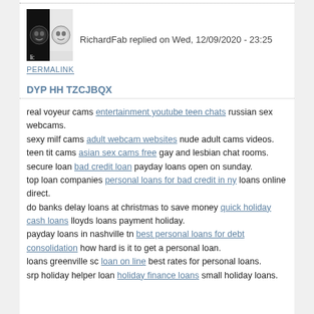[Figure (photo): Black and white avatar image with two emoji-like faces]
RichardFab replied on Wed, 12/09/2020 - 23:25
PERMALINK
DYP HH TZCJBQX
real voyeur cams entertainment youtube teen chats russian sex webcams.
sexy milf cams adult webcam websites nude adult cams videos.
teen tit cams asian sex cams free gay and lesbian chat rooms.
secure loan bad credit loan payday loans open on sunday.
top loan companies personal loans for bad credit in ny loans online direct.
do banks delay loans at christmas to save money quick holiday cash loans lloyds loans payment holiday.
payday loans in nashville tn best personal loans for debt consolidation how hard is it to get a personal loan.
loans greenville sc loan on line best rates for personal loans.
srp holiday helper loan holiday finance loans small holiday loans.